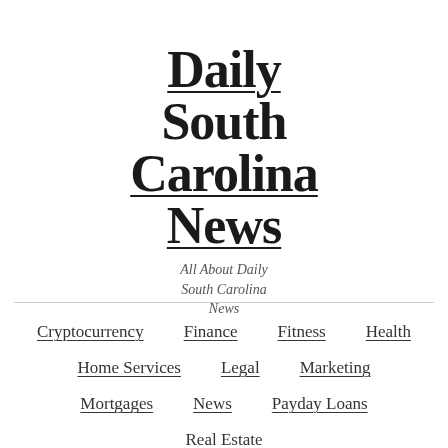Daily South Carolina News
All About Daily South Carolina News
Cryptocurrency
Finance
Fitness
Health
Home Services
Legal
Marketing
Mortgages
News
Payday Loans
Real Estate